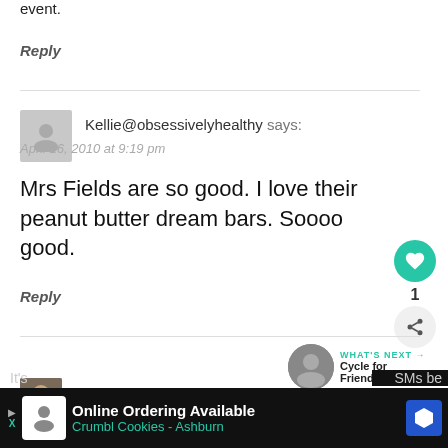event.
Reply
Kellie@obsessivelyhealthy says:
April 16, 2010 at 9:19 pm
Mrs Fields are so good. I love their peanut butter dream bars. Soooo good.
Reply
1
WHAT'S NEXT → Cycle for Friendship...
Tina says:
Online Ordering Available
Crumbl Cookies - Ashburn
It's
SMs be